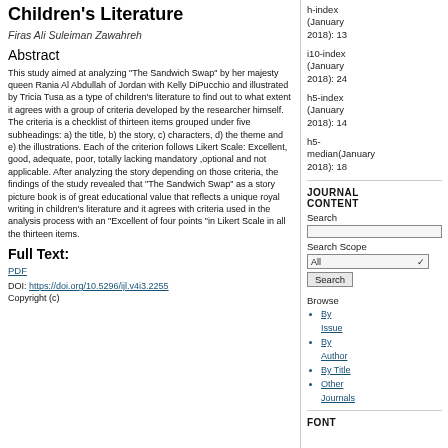Children's Literature
Firas Ali Suleiman Zawahreh
Abstract
This study aimed at analyzing "The Sandwich Swap" by her majesty queen Rania Al Abdullah of Jordan with Kelly DiPucchio and illustrated by Tricia Tusa as a type of children's literature to find out to what extent it agrees with a group of criteria developed by the researcher himself. The criteria is a checklist of thirteen items grouped under five subheadings: a) the title, b) the story, c) characters, d) the theme and e) the illustrations. Each of the criterion follows Likert Scale: Excellent, good, adequate, poor, totally lacking mandatory ,optional and not applicable. After analyzing the story depending on those criteria, the findings of the study revealed that "The Sandwich Swap" as a story picture book is of great educational value that reflects a unique royal writing in children's literature and it agrees with criteria used in the analysis process with an "Excellent of four points "in Likert Scale in all the thirteen items.
Full Text:
PDF
DOI: https://doi.org/10.5296/ijl.v4i3.2255
Copyright (c)
h-index (January 2018): 13
i10-index (January 2018): 24
h5-index (January 2018): 14
h5-median(January 2018): 18
JOURNAL CONTENT
Search
Search Scope
Browse
By Issue
By Author
By Title
Other Journals
FONT